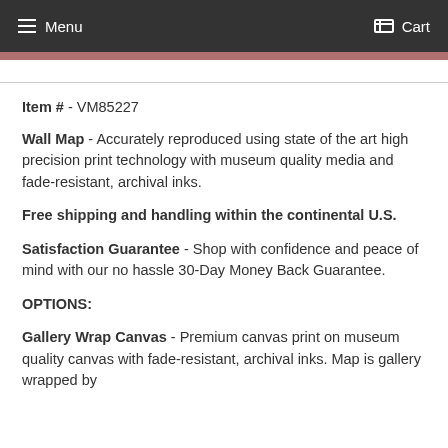Menu  Cart
Item # - VM85227
Wall Map - Accurately reproduced using state of the art high precision print technology with museum quality media and fade-resistant, archival inks.
Free shipping and handling within the continental U.S.
Satisfaction Guarantee - Shop with confidence and peace of mind with our no hassle 30-Day Money Back Guarantee.
OPTIONS:
Gallery Wrap Canvas - Premium canvas print on museum quality canvas with fade-resistant, archival inks. Map is gallery wrapped by